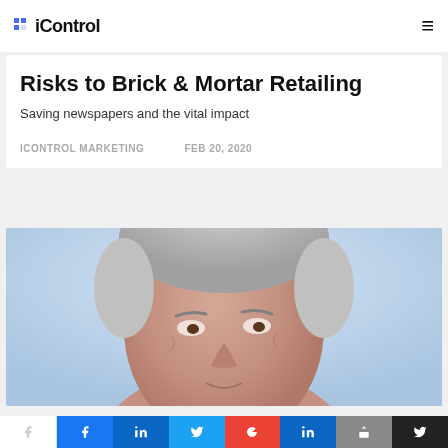iControl
Risks to Brick & Mortar Retailing
Saving newspapers and the vital impact
ICONTROL MARKETING    FEB 20, 2020
[Figure (photo): Close-up photo of an older man with grey hair against a light blue background, showing face and upper shoulders]
Social share buttons: Facebook, LinkedIn, Twitter, Google+, LinkedIn, other, dark